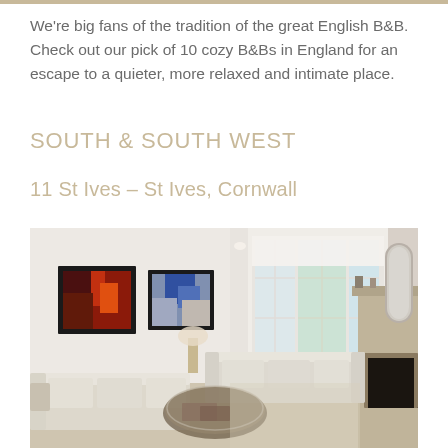We're big fans of the tradition of the great English B&B. Check out our pick of 10 cozy B&Bs in England for an escape to a quieter, more relaxed and intimate place.
SOUTH & SOUTH WEST
11 St Ives – St Ives, Cornwall
[Figure (photo): Interior photo of a bright living room in a B&B in St Ives, Cornwall. The room features white walls, two framed artworks (one red/orange abstract, one blue abstract) on the left wall, cream sofas arranged around a glass coffee table, a bay window with white roller blinds letting in natural light, and a fireplace with a mirror on the right.]